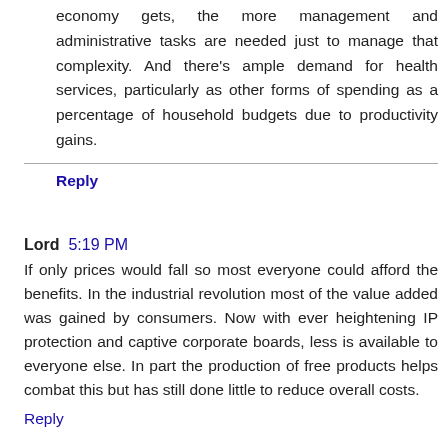economy gets, the more management and administrative tasks are needed just to manage that complexity. And there's ample demand for health services, particularly as other forms of spending as a percentage of household budgets due to productivity gains.
Reply
Lord  5:19 PM
If only prices would fall so most everyone could afford the benefits. In the industrial revolution most of the value added was gained by consumers. Now with ever heightening IP protection and captive corporate boards, less is available to everyone else. In part the production of free products helps combat this but has still done little to reduce overall costs.
Reply
Evan  6:02 PM